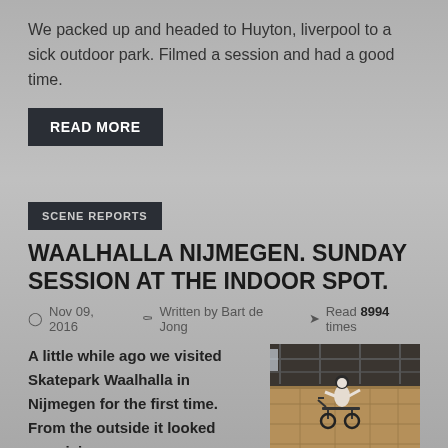We packed up and headed to Huyton, liverpool to a sick outdoor park. Filmed a session and had a good time.
READ MORE
SCENE REPORTS
WAALHALLA NIJMEGEN. SUNDAY SESSION AT THE INDOOR SPOT.
Nov 09, 2016   Written by Bart de Jong   Read 8994 times
A little while ago we visited Skatepark Waalhalla in Nijmegen for the first time. From the outside it looked promising
[Figure (photo): BMX rider performing a trick at an indoor skatepark, airborne on a wooden ramp structure]